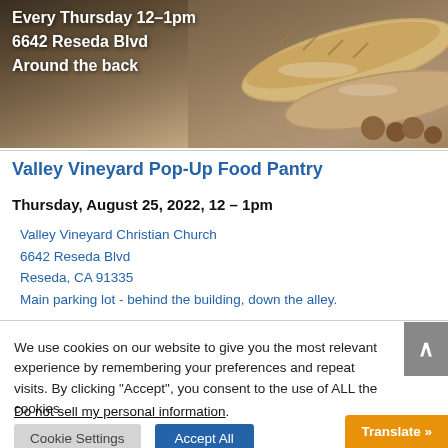[Figure (photo): Photo of artisan bread loaves on a wooden surface with text overlay showing address information]
Every Thursday 12–1pm
6642 Reseda Blvd
Around the back
Valley Vineyard Pop-Up Food Pantry
Thursday, August 25, 2022, 12 – 1pm
Valley Vineyard Christian Church
6642 Reseda Blvd
Reseda, CA 91335
Main parking lot - behind the building, down the alley.
We use cookies on our website to give you the most relevant experience by remembering your preferences and repeat visits. By clicking "Accept", you consent to the use of ALL the cookies.
Do not sell my personal information.